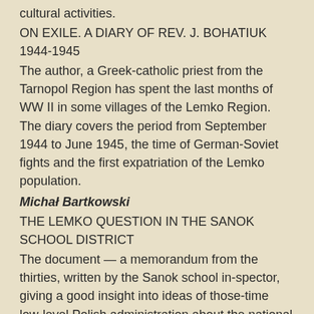cultural activities.
ON EXILE. A DIARY OF REV. J. BOHATIUK 1944-1945
The author, a Greek-catholic priest from the Tarnopol Region has spent the last months of WW II in some villages of the Lemko Region. The diary covers the period from September 1944 to June 1945, the time of German-Soviet fights and the first expatriation of the Lemko population.
Michał Bartkowski
THE LEMKO QUESTION IN THE SANOK SCHOOL DISTRICT
The document — a memorandum from the thirties, written by the Sanok school in-spector, giving a good insight into ideas of those-time low-level Polish administration about the national transformations in the Lemko region.
SAINT MAKSYM SANDOWYCZ (1886-1914)